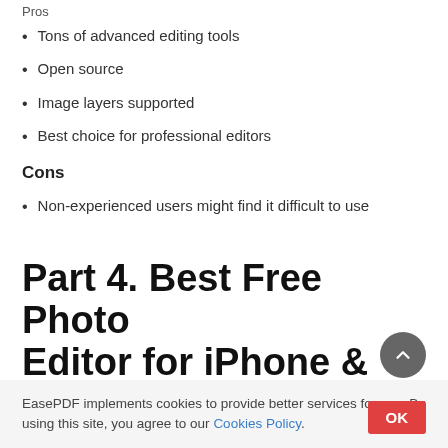Pros
Tons of advanced editing tools
Open source
Image layers supported
Best choice for professional editors
Cons
Non-experienced users might find it difficult to use
Part 4. Best Free Photo Editor for iPhone &
EasePDF implements cookies to provide better services for you. By using this site, you agree to our Cookies Policy.